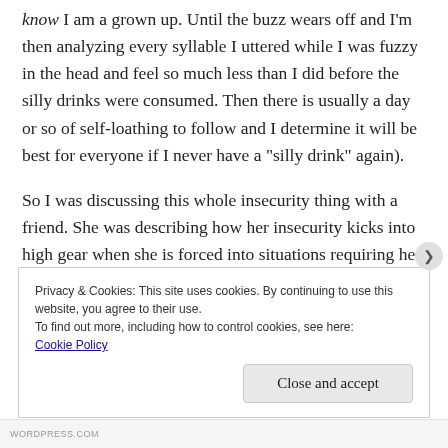know I am a grown up. Until the buzz wears off and I'm then analyzing every syllable I uttered while I was fuzzy in the head and feel so much less than I did before the silly drinks were consumed. Then there is usually a day or so of self-loathing to follow and I determine it will be best for everyone if I never have a “silly drink” again).
So I was discussing this whole insecurity thing with a friend. She was describing how her insecurity kicks into high gear when she is forced into situations requiring her to engage in conversations with other moms in
Privacy & Cookies: This site uses cookies. By continuing to use this website, you agree to their use.
To find out more, including how to control cookies, see here:
Cookie Policy
Close and accept